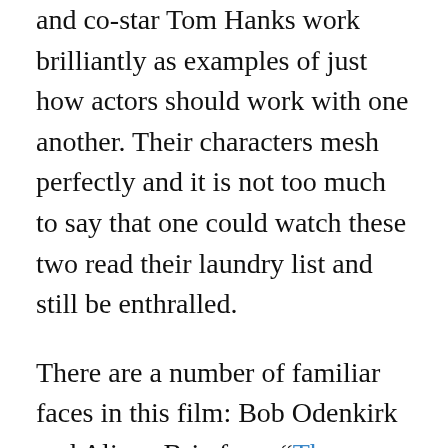and co-star Tom Hanks work brilliantly as examples of just how actors should work with one another. Their characters mesh perfectly and it is not too much to say that one could watch these two read their laundry list and still be enthralled.
There are a number of familiar faces in this film: Bob Odenkirk and Alison Brie from “The Disaster Artist” and Michael Stuhlbarg (from “The Shape of Water”). Pat Healy, Carrie Coon and Sarah Paulson are part of a cast that includes “Hostiles” actor Jesse Plemons. Spielberg has gathered a group of highly capable artists